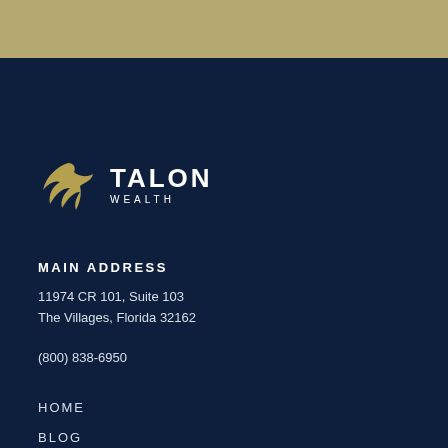[Figure (logo): Talon Wealth logo with golden eagle wing icon and TALON WEALTH text in white]
MAIN ADDRESS
11974 CR 101, Suite 103
The Villages, Florida 32162
(800) 838-6950
HOME
BLOG
CONTACT US